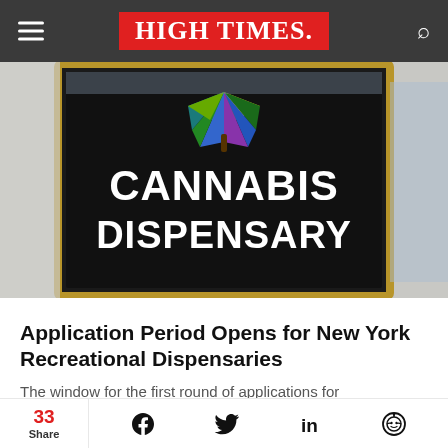HIGH TIMES
[Figure (photo): A cannabis dispensary storefront window with a colorful cannabis leaf logo in rainbow colors (green, blue, yellow, purple) above large white text reading 'CANNABIS DISPENSARY' on a dark background. The exterior of a brick building is visible in the reflection.]
Application Period Opens for New York Recreational Dispensaries
The window for the first round of applications for